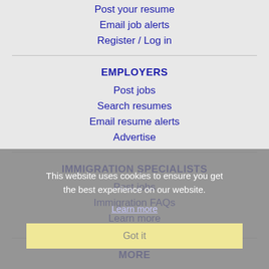Post your resume
Email job alerts
Register / Log in
EMPLOYERS
Post jobs
Search resumes
Email resume alerts
Advertise
IMMIGRATION SPECIALISTS
Post jobs
Immigration FAQs
This website uses cookies to ensure you get the best experience on our website.
Learn more
Got it
Learn more
MORE